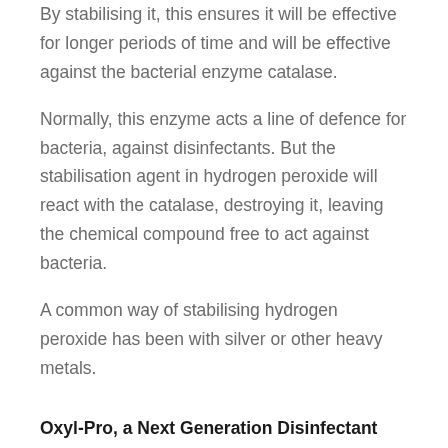By stabilising it, this ensures it will be effective for longer periods of time and will be effective against the bacterial enzyme catalase.
Normally, this enzyme acts a line of defence for bacteria, against disinfectants. But the stabilisation agent in hydrogen peroxide will react with the catalase, destroying it, leaving the chemical compound free to act against bacteria.
A common way of stabilising hydrogen peroxide has been with silver or other heavy metals.
Oxyl-Pro, a Next Generation Disinfectant
Oxyl-Pro is aseptic hydrogen peroxide-based, but instead of using silver for stabilisation, it relies on a proprietary stabilisation process, previously used for...